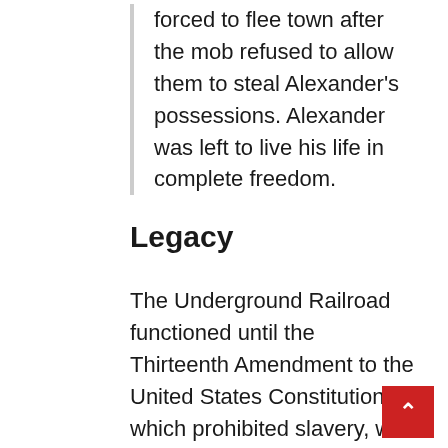forced to flee town after the mob refused to allow them to steal Alexander's possessions. Alexander was left to live his life in complete freedom.
Legacy
The Underground Railroad functioned until the Thirteenth Amendment to the United States Constitution, which prohibited slavery, was ratified in 1865. Freedom-seekers, free Blacks, and descendants of Black Loyalists settled throughout British North America during the American Revolutionary War. It is possible that some of them resided in all-Black colonies, such as the Elgin Settlement and the Buxton Mission in Ontario, the